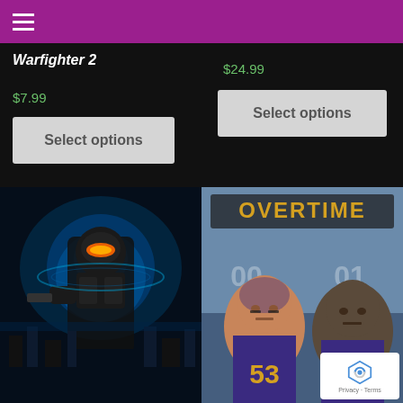Navigation menu header bar
Warfighter 2
$7.99
Select options
$24.99
Select options
[Figure (photo): Sci-fi game cover art featuring a robotic armored figure with glowing orange visor against a dark blue background with cityscape]
[Figure (photo): Football game cover art labeled OVERTIME featuring two football players in purple and gold uniforms, numbers 00 and 01 visible in background]